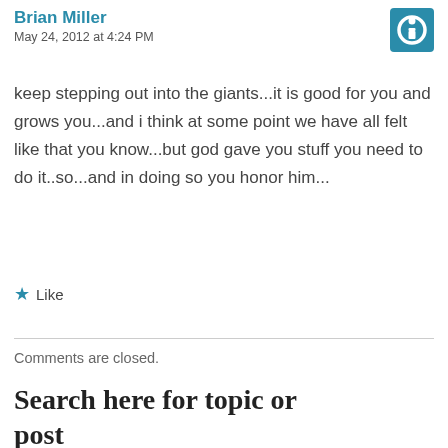Brian Miller
May 24, 2012 at 4:24 PM
keep stepping out into the giants...it is good for you and grows you...and i think at some point we have all felt like that you know...but god gave you stuff you need to do it..so...and in doing so you honor him...
Like
Comments are closed.
Search here for topic or post